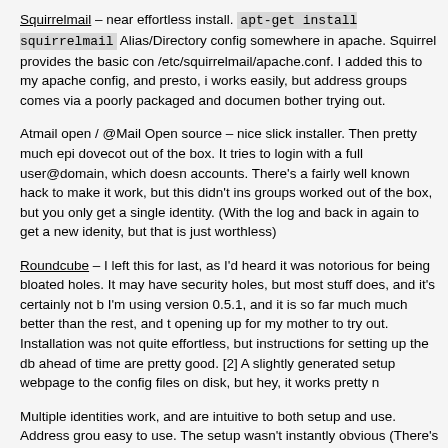Squirrelmail – near effortless install. apt-get install squirrelmail Alias/Directory config somewhere in apache. Squirrel provides the basic con /etc/squirrelmail/apache.conf. I added this to my apache config, and presto, i works easily, but address groups comes via a poorly packaged and documen bother trying out.
Atmail open / @Mail Open source – nice slick installer. Then pretty much epi dovecot out of the box. It tries to login with a full user@domain, which doesn accounts. There's a fairly well known hack to make it work, but this didn't ins groups worked out of the box, but you only get a single identity. (With the log and back in again to get a new idenity, but that is just worthless)
Roundcube – I left this for last, as I'd heard it was notorious for being bloated holes. It may have security holes, but most stuff does, and it's certainly not b I'm using version 0.5.1, and it is so far much much better than the rest, and t opening up for my mother to try out. Installation was not quite effortless, but instructions for setting up the db ahead of time are pretty good. [2] A slightly generated setup webpage to the config files on disk, but hey, it works pretty n
Multiple identities work, and are intuitive to both setup and use. Address grou easy to use. The setup wasn't instantly obvious (There's a plus button on the adding users to groups wasn't immediately obvious either. You just drag ther guess I'm used to older webmail clients :) Also, to send mail to a group, you the group in the To: field. I haven't found a way to select a group/groups from